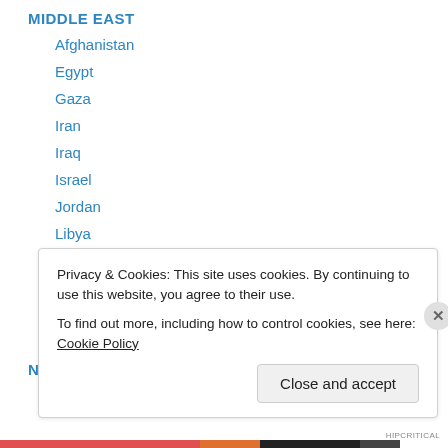MIDDLE EAST
Afghanistan
Egypt
Gaza
Iran
Iraq
Israel
Jordan
Libya
Saudi Arabia
Syria
Turkey
United Arab Emirates
Privacy & Cookies: This site uses cookies. By continuing to use this website, you agree to their use.
To find out more, including how to control cookies, see here: Cookie Policy
Close and accept